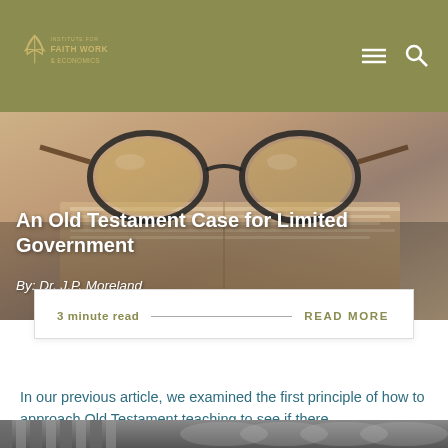Institute for Faith Work & Economics
[Figure (photo): Close-up photo of eyeglasses resting on an open book with warm brown tones]
An Old Testament Case for Limited Government
By: Dr. J.P. Moreland
3 minute read  READ MORE
In our previous article, we examined the first principle of how to approach Old Testament teaching to see if there…
[Figure (photo): Bottom strip showing architectural columns or pillars in gray tones]